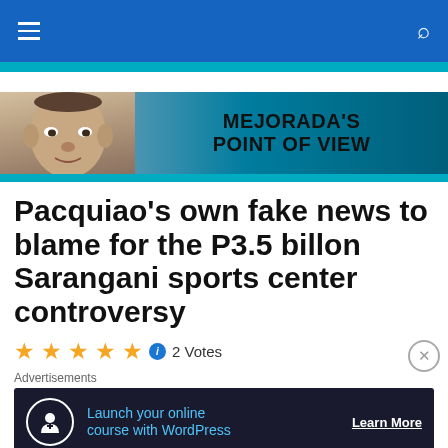Navigation bar with hamburger menu and search icon
[Figure (illustration): Mejorada's Point of View banner with a man's face on left and bold text on right on teal/blue gradient background]
Pacquiao’s own fake news to blame for the P3.5 billon Sarangani sports center controversy
2 Votes
Advertisements
[Figure (screenshot): Advertisement banner: Launch your online course with WordPress — Learn More]